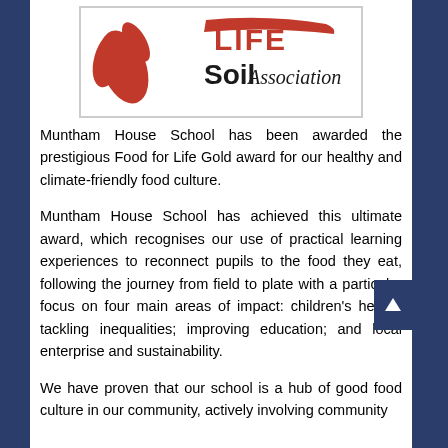[Figure (logo): Food for Life Soil Association logo — red stylized figure with 'LIFE' text and 'Soil Association' in black, on white background]
Muntham House School has been awarded the prestigious Food for Life Gold award for our healthy and climate-friendly food culture.
Muntham House School has achieved this ultimate award, which recognises our use of practical learning experiences to reconnect pupils to the food they eat, following the journey from field to plate with a particular focus on four main areas of impact: children's health; tackling inequalities; improving education; and local enterprise and sustainability.
We have proven that our school is a hub of good food culture in our community, actively involving community